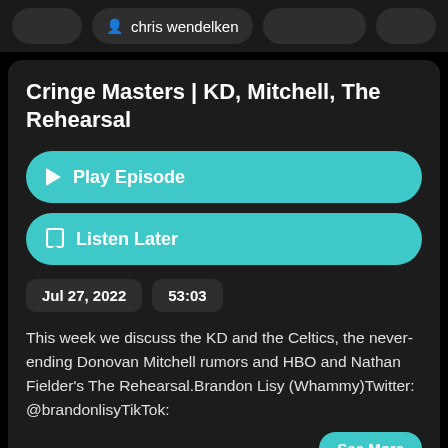chris wendelken
Cringe Masters | KD, Mitchell, The Rehearsal
Play Episode
Listen Later
Jul 27, 2022
53:03
This week we discuss the KD and the Celtics, the never-ending Donovan Mitchell rumors and HBO and Nathan Fielder's The Rehearsal.Brandon Lisy (Whammy)Twitter: @brandonlisyTikTok:
See More